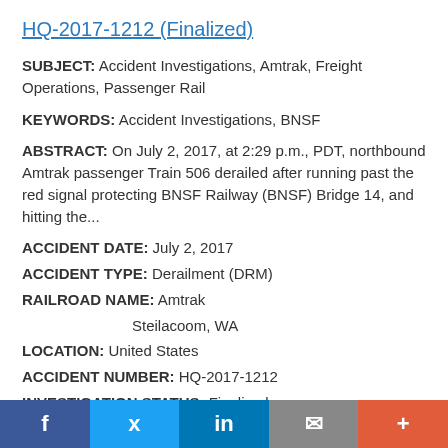HQ-2017-1212 (Finalized)
SUBJECT: Accident Investigations, Amtrak, Freight Operations, Passenger Rail
KEYWORDS: Accident Investigations, BNSF
ABSTRACT: On July 2, 2017, at 2:29 p.m., PDT, northbound Amtrak passenger Train 506 derailed after running past the red signal protecting BNSF Railway (BNSF) Bridge 14, and hitting the...
ACCIDENT DATE: July 2, 2017
ACCIDENT TYPE: Derailment (DRM)
RAILROAD NAME: Amtrak
Steilacoom, WA
LOCATION: United States
ACCIDENT NUMBER: HQ-2017-1212
INVESTIGATION STATUS: Finalized